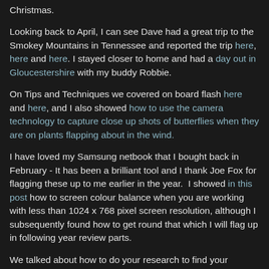Christmas.
Looking back to April, I can see Dave had a great trip to the Smokey Mountains in Tennessee and reported the trip here, here and here. I stayed closer to home and had a day out in Gloucestershire with my buddy Robbie.
On Tips and Techniques we covered on board flash here and here, and I also showed how to use the camera technology to capture close up shots of butterflies when they are on plants flapping about in the wind.
I have loved my Samsung netbook that I bought back in February - It has been a brilliant tool and I thank Joe Fox for flagging these up to me earlier in the year.  I showed in this post how to screen colour balance when you are working with less than 1024 x 768 pixel screen resolution, although I subsequently found how to get round that which I will flag up in following year review parts.
We talked about how to do your research to find your subjects for yourself, rather than get others to do your field